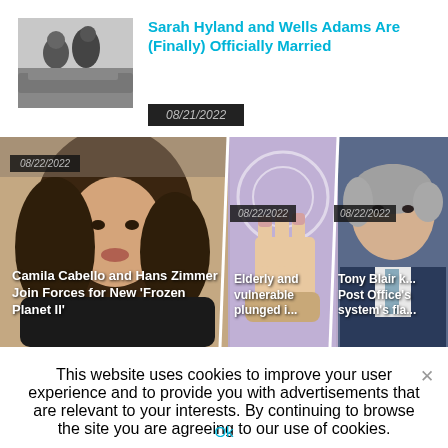[Figure (photo): Black and white photo of a couple, man and woman outdoors, possibly a wedding scene]
Sarah Hyland and Wells Adams Are (Finally) Officially Married
08/21/2022
[Figure (photo): Three side-by-side photos: 1) Camila Cabello with brown hair in dark clothing, 2) Close-up of hands/nails on purple background, 3) Tony Blair in blue suit. Each with date 08/22/2022 and partial headlines: 'Camila Cabello and Hans Zimmer Join Forces for New Frozen Planet II', 'Elderly and vulnerable plunged i...', 'Tony Blair k... Post Office system's fla...']
This website uses cookies to improve your user experience and to provide you with advertisements that are relevant to your interests. By continuing to browse the site you are agreeing to our use of cookies.
Ok